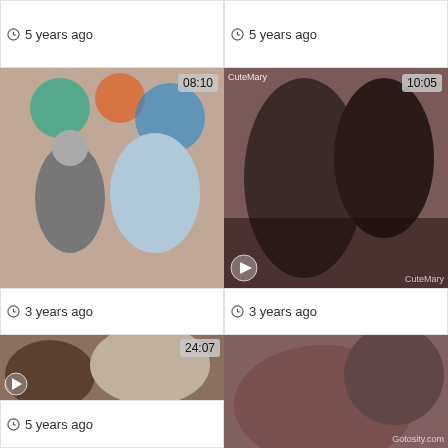5 years ago
5 years ago
[Figure (photo): Video thumbnail showing man and blonde woman, duration 08:10]
[Figure (photo): Video thumbnail close-up, duration 10:05, CuteMary watermark]
3 years ago
3 years ago
[Figure (photo): Video thumbnail, duration 24:07, FreeAnalQueen.com watermark]
[Figure (photo): Video thumbnail, Gotosity.com watermark]
5 years ago
[Figure (photo): Video thumbnail showing young woman with red/blonde hair]
[Figure (photo): Video thumbnail showing woman in varsity jacket outdoors, duration 12:38]